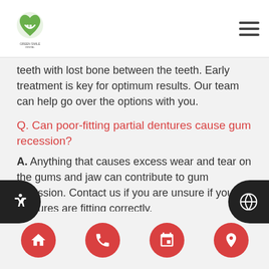Green Smile Dental logo and navigation menu
teeth with lost bone between the teeth. Early treatment is key for optimum results. Our team can help go over the options with you.
Q. Can poor-fitting partial dentures cause gum recession?
A. Anything that causes excess wear and tear on the gums and jaw can contribute to gum recession. Contact us if you are unsure if your dentures are fitting correctly.
Q. How is gum recession diagnosed?
A. Our team will start with reviewing your medical history to identify any factors that could...
Home | Phone | Calendar | Location icons